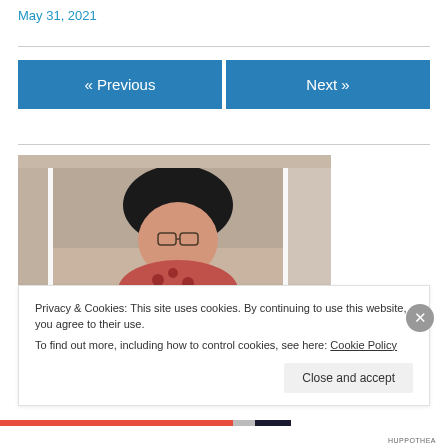May 31, 2021
« Previous
Next »
[Figure (photo): A person with dark hair and glasses looking down, wearing a floral/patterned top, with a small tiger cub below them. The photo appears to be a physical print photographed at a slight angle.]
Privacy & Cookies: This site uses cookies. By continuing to use this website, you agree to their use.
To find out more, including how to control cookies, see here: Cookie Policy
Close and accept